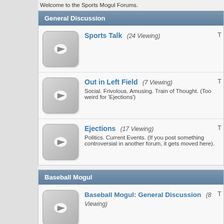Welcome to the Sports Mogul Forums.
General Discussion
Sports Talk (24 Viewing)
Out in Left Field (7 Viewing)
Social. Frivolous. Amusing. Train of Thought. (Too weird for 'Ejections')
Ejections (17 Viewing)
Politics. Current Events. (If you post something controversial in another forum, it gets moved here).
Baseball Mogul
Baseball Mogul: General Discussion (8 Viewing)
Baseball Mogul: Suggestions and AI (4 Viewing)
Gameplay comments that don't qualify as "bug reports"